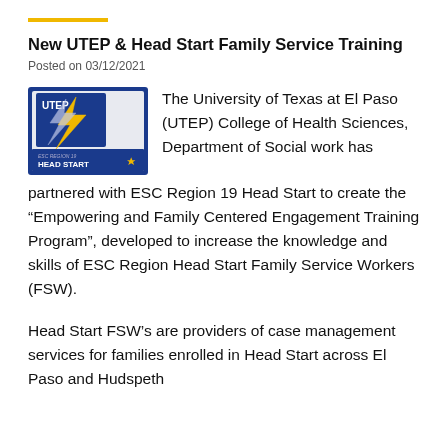New UTEP & Head Start Family Service Training
Posted on 03/12/2021
[Figure (logo): UTEP and Head Start logo — shows UTEP lightning bolt logo combined with Head Start branding on a blue/white background]
The University of Texas at El Paso (UTEP) College of Health Sciences, Department of Social work has partnered with ESC Region 19 Head Start to create the “Empowering and Family Centered Engagement Training Program”, developed to increase the knowledge and skills of ESC Region Head Start Family Service Workers (FSW).
Head Start FSW’s are providers of case management services for families enrolled in Head Start across El Paso and Hudspeth